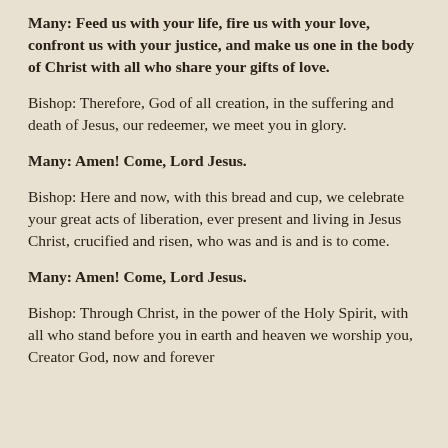Many: Feed us with your life, fire us with your love, confront us with your justice, and make us one in the body of Christ with all who share your gifts of love.
Bishop: Therefore, God of all creation, in the suffering and death of Jesus, our redeemer, we meet you in glory.
Many: Amen! Come, Lord Jesus.
Bishop: Here and now, with this bread and cup, we celebrate your great acts of liberation, ever present and living in Jesus Christ, crucified and risen, who was and is and is to come.
Many: Amen! Come, Lord Jesus.
Bishop: Through Christ, in the power of the Holy Spirit, with all who stand before you in earth and heaven we worship you, Creator God, now and forever